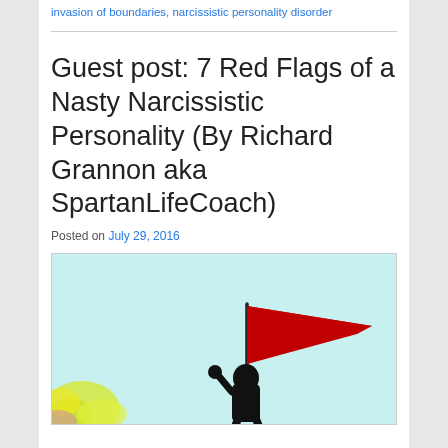invasion of boundaries, narcissistic personality disorder
Guest post: 7 Red Flags of a Nasty Narcissistic Personality (By Richard Grannon aka SpartanLifeCoach)
Posted on July 29, 2016
[Figure (photo): Silhouette of a person raising a red flag against a light blue sky with yellow/green floral splash at bottom left]